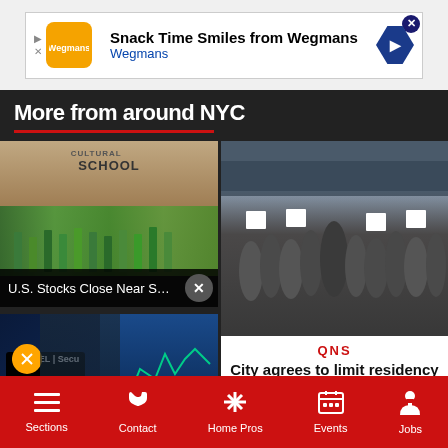[Figure (other): Advertisement banner: Snack Time Smiles from Wegmans with Wegmans logo]
More from around NYC
[Figure (photo): People protesting outside a Cultural School building holding signs]
U.S. Stocks Close Near Session Lows to ...
[Figure (photo): Stock trader at Citadel Securities workstation with multiple screens showing financial charts]
[Figure (photo): Group of people in masks holding signs in protest outside a building]
QNS
City agrees to limit residency at proposed 's homeless shelter in Briarwood
Sections  Contact  Home Pros  Events  Jobs